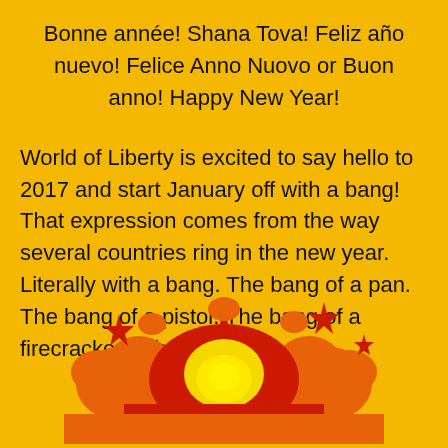Bonne année! Shana Tova! Feliz año nuevo! Felice Anno Nuovo or Buon anno! Happy New Year!
World of Liberty is excited to say hello to 2017 and start January off with a bang! That expression comes from the way several countries ring in the new year. Literally with a bang. The bang of a pan. The bang of a pistol. The bang of a firecracker. Why such
[Figure (illustration): Cartoon explosion graphic with red, orange, yellow bursts and star shapes at the bottom of the page]